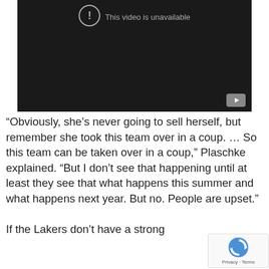[Figure (screenshot): Embedded YouTube video player showing 'This video is unavailable' message on a dark/black background, with a YouTube button in the bottom right corner.]
“Obviously, she’s never going to sell herself, but remember she took this team over in a coup. … So this team can be taken over in a coup,” Plaschke explained. “But I don’t see that happening until at least they see that what happens this summer and what happens next year. But no. People are upset.”
If the Lakers don’t have a strong